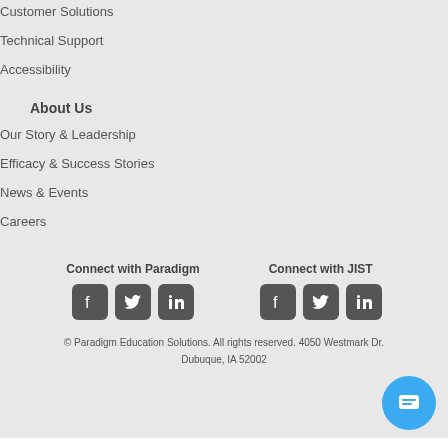Customer Solutions
Technical Support
Accessibility
About Us
Our Story & Leadership
Efficacy & Success Stories
News & Events
Careers
Connect with Paradigm
[Figure (infographic): Social media icons for Paradigm: Facebook, Twitter, LinkedIn]
Connect with JIST
[Figure (infographic): Social media icons for JIST: Facebook, Twitter, LinkedIn]
© Paradigm Education Solutions. All rights reserved. 4050 Westmark Dr. Dubuque, IA 52002